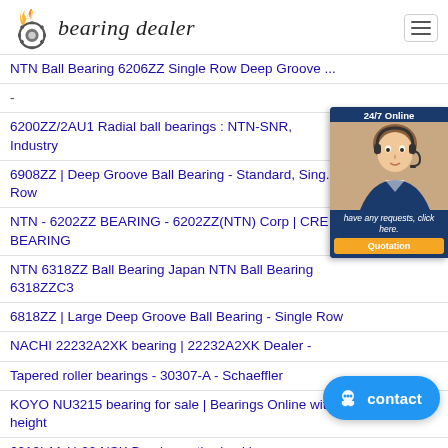bearing dealer
NTN Ball Bearing 6206ZZ Single Row Deep Groove ...
-
6200ZZ/2AU1 Radial ball bearings : NTN-SNR, Industry
6908ZZ | Deep Groove Ball Bearing - Standard, Single Row
NTN - 6202ZZ BEARING - 6202ZZ(NTN) Corp | CRE BEARING
NTN 6318ZZ Ball Bearing Japan NTN Ball Bearing 6318ZZC3
6818ZZ | Large Deep Groove Ball Bearing - Single Row
NACHI 22232A2XK bearing | 22232A2XK Dealer -
Tapered roller bearings - 30307-A - Schaeffler
KOYO NU3215 bearing for sale | Bearings Online with height
6010L11-H-20 NSK Bearing authorized be... class bearing
NTN Bearing Corp. | 32938X | Roller Bearing Cone &